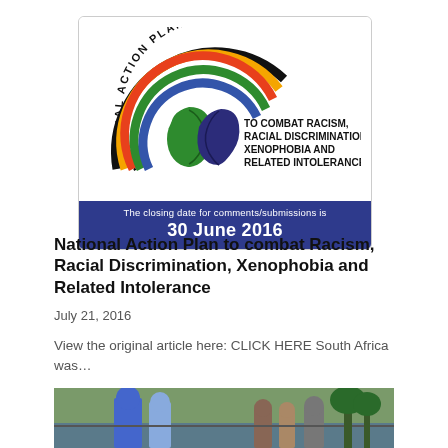[Figure (logo): National Action Plan logo with rainbow arc and profile faces, text reading 'NATIONAL ACTION PLAN TO COMBAT RACISM, RACIAL DISCRIMINATION, XENOPHOBIA AND RELATED INTOLERANCE'. Blue banner at bottom: 'The closing date for comments/submissions is 30 June 2016']
National Action Plan to combat Racism, Racial Discrimination, Xenophobia and Related Intolerance
July 21, 2016
View the original article here: CLICK HERE South Africa was…
[Figure (photo): Outdoor photograph showing people with blue body paint standing near a fence with greenery in background]